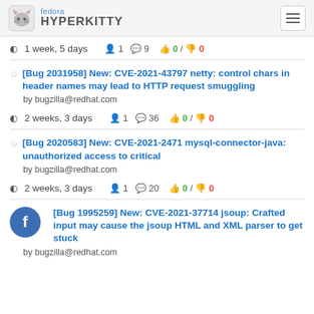fedora HYPERKITTY
1 week, 5 days  1  9  0 / 0
[Bug 2031958] New: CVE-2021-43797 netty: control chars in header names may lead to HTTP request smuggling
by bugzilla@redhat.com
2 weeks, 3 days  1  36  0 / 0
[Bug 2020583] New: CVE-2021-2471 mysql-connector-java: unauthorized access to critical
by bugzilla@redhat.com
2 weeks, 3 days  1  20  0 / 0
[Bug 1995259] New: CVE-2021-37714 jsoup: Crafted input may cause the jsoup HTML and XML parser to get stuck
by bugzilla@redhat.com